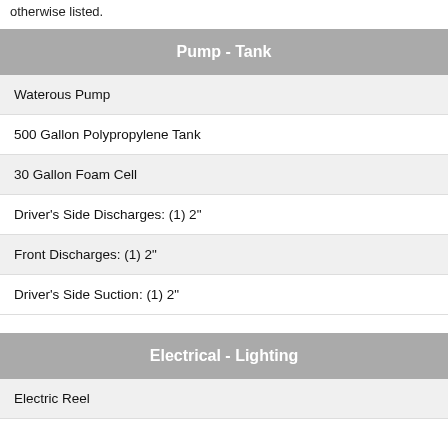otherwise listed.
Pump - Tank
Waterous Pump
500 Gallon Polypropylene Tank
30 Gallon Foam Cell
Driver's Side Discharges: (1) 2"
Front Discharges: (1) 2"
Driver's Side Suction: (1) 2"
Electrical - Lighting
Electric Reel